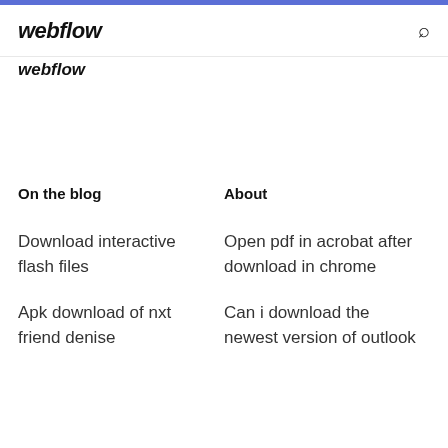webflow
webflow
On the blog
About
Download interactive flash files
Apk download of nxt friend denise
Open pdf in acrobat after download in chrome
Can i download the newest version of outlook